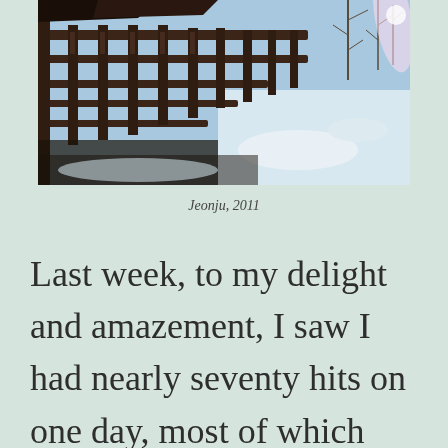[Figure (photo): Outdoor winter scene of a traditional Korean wooden structure/pavilion with ornate railings and fencing covered in snow, with bare trees and bright sunlight in the background.]
Jeonju, 2011
Last week, to my delight and amazement, I saw I had nearly seventy hits on one day, most of which came from South Korea.